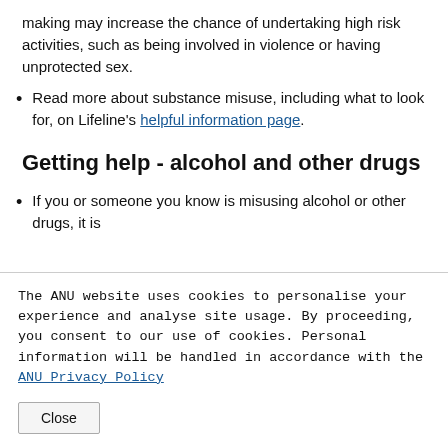making may increase the chance of undertaking high risk activities, such as being involved in violence or having unprotected sex.
Read more about substance misuse, including what to look for, on Lifeline's helpful information page.
Getting help - alcohol and other drugs
If you or someone you know is misusing alcohol or other drugs, it is
The ANU website uses cookies to personalise your experience and analyse site usage. By proceeding, you consent to our use of cookies. Personal information will be handled in accordance with the ANU Privacy Policy
Close